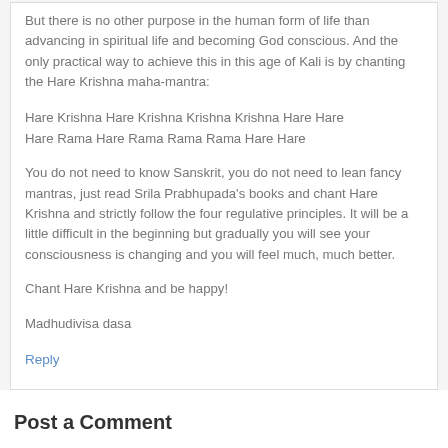follow the chanting of the Hare Krishna mantra.
But there is no other purpose in the human form of life than advancing in spiritual life and becoming God conscious. And the only practical way to achieve this in this age of Kali is by chanting the Hare Krishna maha-mantra:
Hare Krishna Hare Krishna Krishna Krishna Hare Hare
Hare Rama Hare Rama Rama Rama Hare Hare
You do not need to know Sanskrit, you do not need to lean fancy mantras, just read Srila Prabhupada's books and chant Hare Krishna and strictly follow the four regulative principles. It will be a little difficult in the beginning but gradually you will see your consciousness is changing and you will feel much, much better.
Chant Hare Krishna and be happy!
Madhudivisa dasa
Reply
Post a Comment